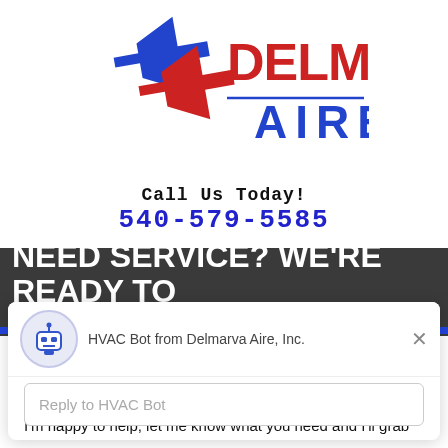[Figure (logo): Delmarva Aire logo with stylized blue and red arrows/lightning bolt icon and company name in red and blue]
Call Us Today!
540-579-5585
NEED SERVICE? WE'RE READY TO HELP!
[Figure (screenshot): Chat widget popup from HVAC Bot from Delmarva Aire, Inc. with robot icon, close button, and message: Have a question? Or would you like to get a free estimate? I'm happy to help, let me know what you need and I'll grab one of my humans. Reply input box at bottom.]
HVAC Bot from Delmarva Aire, Inc.
Have a question? Or would you like to get a free estimate? I'm happy to help, let me know what you need and I'll grab one of my humans.
Reply to HVAC Bot